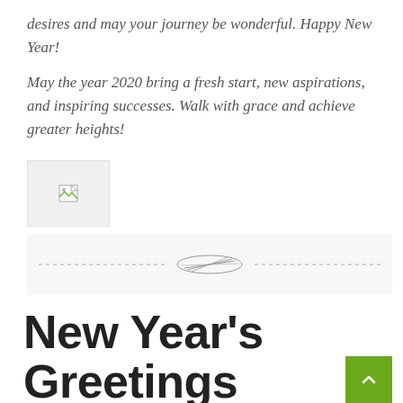desires and may your journey be wonderful. Happy New Year!
May the year 2020 bring a fresh start, new aspirations, and inspiring successes. Walk with grace and achieve greater heights!
[Figure (other): Broken image placeholder icon — small document icon with torn corner]
[Figure (illustration): Decorative horizontal divider — thin lines with an ornamental oval/ellipse motif in the center, on a light grey background]
New Year's Greetings